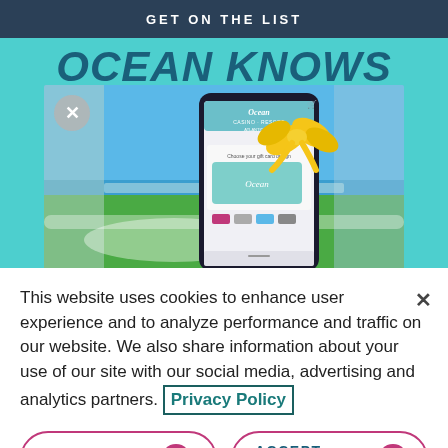GET ON THE LIST
OCEAN KNOWS BEST
[Figure (screenshot): Modal popup showing Ocean Casino Resort app/gift card on a smartphone with a yellow bow ribbon, overlaid on a background showing a rooftop or resort area with ocean view. A circular X/close button appears top-left of the modal.]
Sig eive
This website uses cookies to enhance user experience and to analyze performance and traffic on our website. We also share information about your use of our site with our social media, advertising and analytics partners. Privacy Policy
REJECT ALL
ACCEPT COOKIES